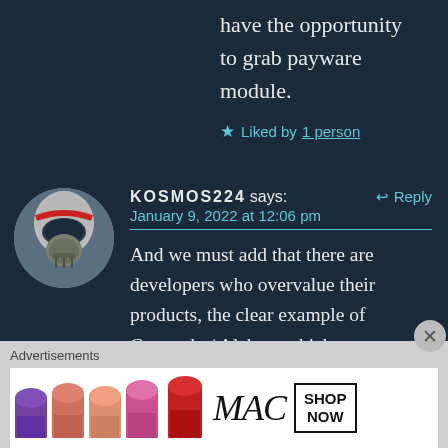have the opportunity to grab payware module.
★ Liked by 1 person
KOSMOS224 says: ↩ Reply
January 9, 2022 at 12:06 pm
And we must add that there are developers who overvalue their products, the clear example of Carenado / Alabeo, which are not worth what they ask for them.
[Figure (photo): Circular avatar photo of a pilot wearing a flight helmet and oxygen mask]
Advertisements
[Figure (photo): MAC cosmetics advertisement banner showing colorful lipsticks with MAC logo and SHOP NOW call to action]